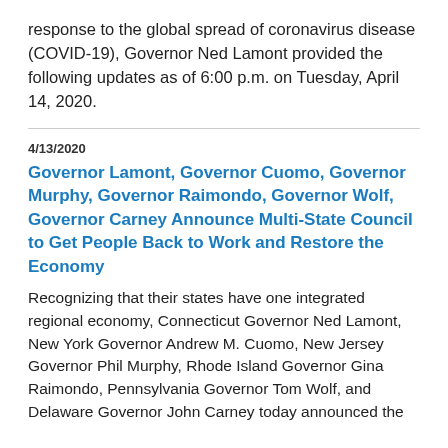response to the global spread of coronavirus disease (COVID-19), Governor Ned Lamont provided the following updates as of 6:00 p.m. on Tuesday, April 14, 2020.
4/13/2020
Governor Lamont, Governor Cuomo, Governor Murphy, Governor Raimondo, Governor Wolf, Governor Carney Announce Multi-State Council to Get People Back to Work and Restore the Economy
Recognizing that their states have one integrated regional economy, Connecticut Governor Ned Lamont, New York Governor Andrew M. Cuomo, New Jersey Governor Phil Murphy, Rhode Island Governor Gina Raimondo, Pennsylvania Governor Tom Wolf, and Delaware Governor John Carney today announced the